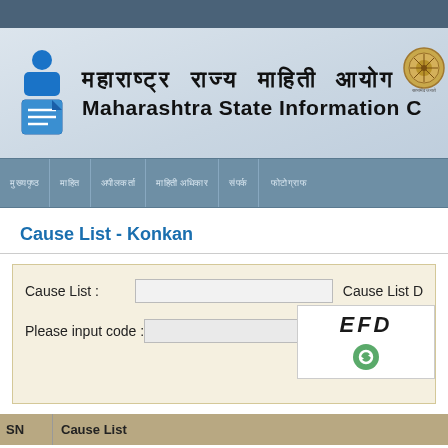[Figure (screenshot): Maharashtra State Information Commission website header with Marathi and English text, navigation bar, Cause List - Konkan form, and table header]
महाराष्ट्र राज्य माहिती आयोग / Maharashtra State Information C
Cause List - Konkan
Cause List : [input field]   Cause List D
Please input code : [input field]   EFD [captcha]
| SN | Cause List |
| --- | --- |